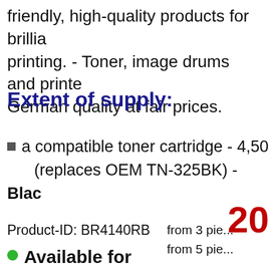friendly, high-quality products for brilliant printing. - Toner, image drums and printe... German quality at fair prices.
Extent of supply:
a compatible toner cartridge - 4,50... (replaces OEM TN-325BK) - Black
20
Product-ID: BR4140RB
from 3 pie... from 5 pie...
Available for immediate delivery